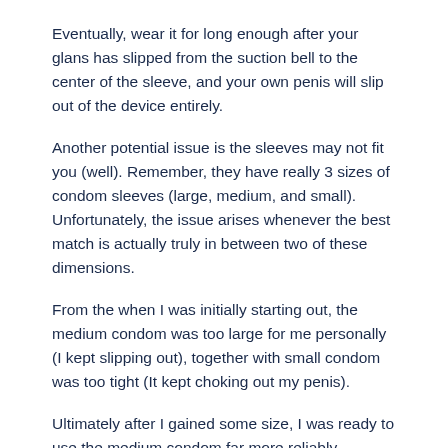Eventually, wear it for long enough after your glans has slipped from the suction bell to the center of the sleeve, and your own penis will slip out of the device entirely.
Another potential issue is the sleeves may not fit you (well). Remember, they have really 3 sizes of condom sleeves (large, medium, and small). Unfortunately, the issue arises whenever the best match is actually truly in between two of these dimensions.
From the when I was initially starting out, the medium condom was too large for me personally (I kept slipping out), together with small condom was too tight (It kept choking out my penis).
Ultimately after I gained some size, I was ready to use the medium condom far more reliably.